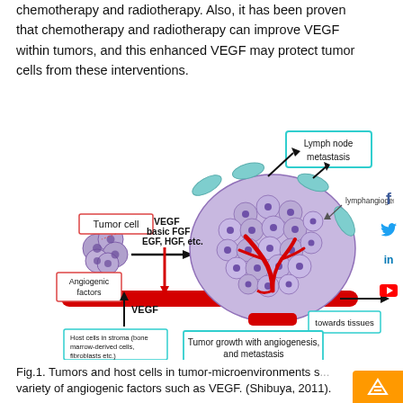chemotherapy and radiotherapy. Also, it has been proven that chemotherapy and radiotherapy can improve VEGF within tumors, and this enhanced VEGF may protect tumor cells from these interventions.
[Figure (illustration): Diagram showing tumor growth with angiogenesis and metastasis. A small cluster of tumor cells (labeled 'Tumor cell') with an arrow pointing to a large vascularized tumor mass. Below the tumor cells is a label 'Angiogenic factors' in a red-bordered box. Between the small tumor and large tumor are the labels 'VEGF basic FGF EGF, HGF, etc.' A red horizontal vessel runs beneath. An upward arrow labeled 'VEGF' points up from a box labeled 'Host cells in stroma (bone marrow-derived cells, fibroblasts etc.)'. From the large tumor, teal/cyan leaf-shaped cells emerge and arrows point toward a cyan-bordered box labeled 'Lymph node metastasis'. A label 'lymphangiogenesis' with an arrow points to the teal cells. A teal-bordered box at bottom right reads 'towards tissues' with an arrow pointing right. A teal-bordered box reads 'Tumor growth with angiogenesis, and metastasis'.]
Fig.1. Tumors and host cells in tumor-microenvironments s... variety of angiogenic factors such as VEGF. (Shibuya, 2011).